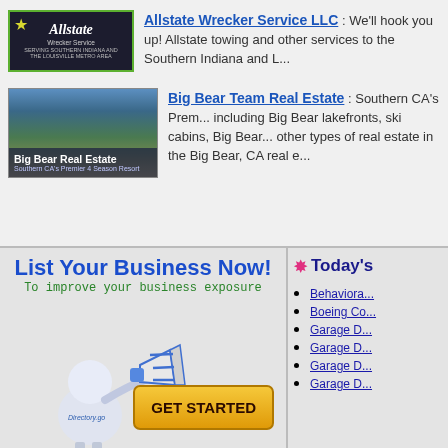[Figure (logo): Allstate Wrecker Service logo on dark background with green border]
Allstate Wrecker Service LLC : We'll hook you up! Allstate towing and other services to the Southern Indiana and L...
[Figure (photo): Big Bear Real Estate banner image with mountains and trees, text overlay: Big Bear Real Estate - Southern CA's Premier 4 Season Resort]
Big Bear Team Real Estate : Southern CA's Prem... including Big Bear lakefronts, ski cabins, Big Bear... other types of real estate in the Big Bear, CA real e...
[Figure (infographic): List Your Business Now! promotional panel with mascot figure holding megaphone, subtitle: To improve your business exposure, and GET STARTED button]
Today's
Behaviora...
Boeing Co...
Garage D...
Garage D...
Garage D...
Garage D...